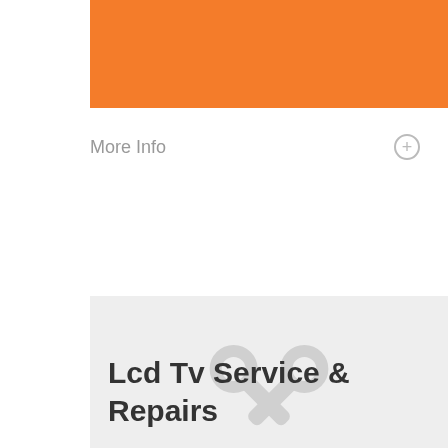[Figure (other): Orange banner header strip at top of page]
More Info +
[Figure (illustration): Light gray card with crossed wrench and screwdriver tools icon in white, followed by title text 'Lcd Tv Service & Repairs']
Lcd Tv Service & Repairs